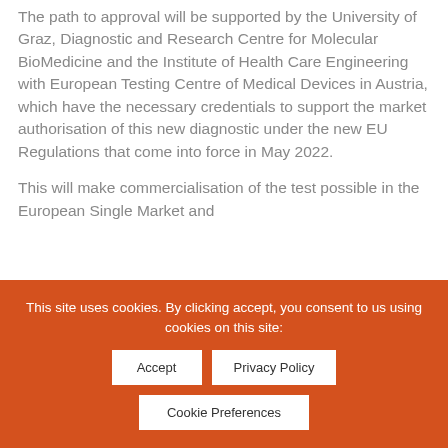The path to approval will be supported by the University of Graz, Diagnostic and Research Centre for Molecular BioMedicine and the Institute of Health Care Engineering with European Testing Centre of Medical Devices in Austria, which have the necessary credentials to support the market authorisation of this new diagnostic under the new EU Regulations that come into force in May 2022.
This will make commercialisation of the test possible in the European Single Market and
This site uses cookies. By clicking accept, you consent to us using cookies on this site: